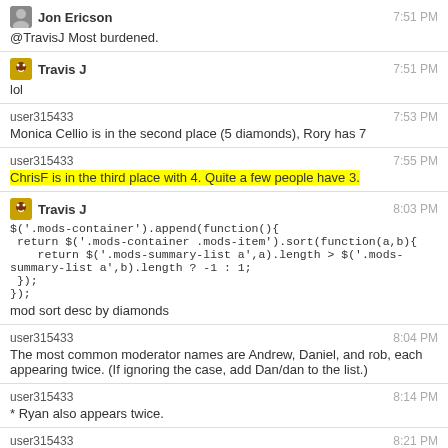Jon Ericson | 7:51 PM
@TravisJ Most burdened.
Travis J | 7:51 PM
lol
user315433 | 7:53 PM
Monica Cellio is in the second place (5 diamonds), Rory has 7
user315433 | 7:55 PM
ChrisF is in the third place with 4. Quite a few people have 3.
Travis J | 8:03 PM
$('.mods-container').append(function(){
 return $('.mods-container .mods-item').sort(function(a,b){
    return $('.mods-summary-list a',a).length > $('.mods-summary-list a',b).length ? -1 : 1;
 });
});
mod sort desc by diamonds
user315433 | 8:04 PM
The most common moderator names are Andrew, Daniel, and rob, each appearing twice. (If ignoring the case, add Dan/dan to the list.)
user315433 | 8:14 PM
* Ryan also appears twice.
user315433 | 8:21 PM